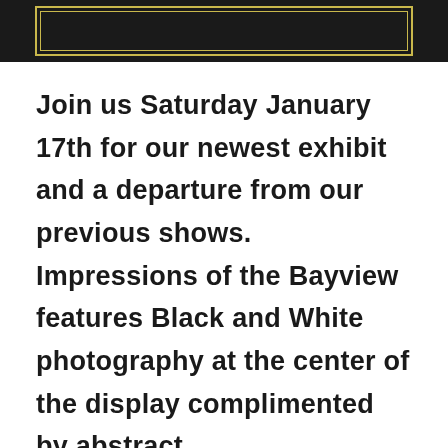[Figure (illustration): Black decorative header bar with gold/tan inner border frame]
Join us Saturday January 17th for our newest exhibit and a departure from our previous shows.  Impressions of the Bayview features Black and White photography at the center of the display complimented by abstract